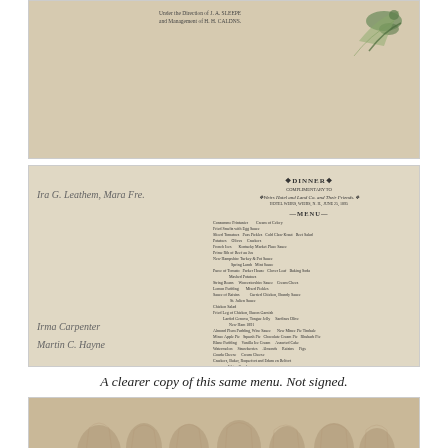[Figure (photo): Photograph of a vintage menu or document cover, cream/tan colored, with partial printed text reading 'Under the Direction of J. A. SLEEPE and Management of H. H. CALDNS' and a decorative bird illustration in the upper right corner.]
[Figure (photo): Photograph of a dinner menu complimentary to 'Weirs Hotel and Land Co. and Their Friends, Hotel Weirs, Weirs, N.H., June 25, 1895', with handwritten signatures on the left side including 'Ira G. Leathem, Mara Fre.' and bottom signatures 'Irma Carpenter, Martin C. Hayne'. The right side shows the printed DINNER MENU text.]
A clearer copy of this same menu. Not signed.
[Figure (photo): Photograph of embossed/textured tan cover of the menu, showing raised decorative figures in relief and two green leaf/feather decorative elements at the bottom center.]